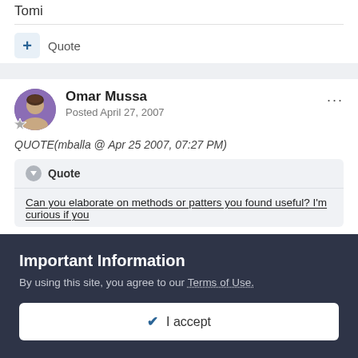Tomi
+ Quote
Omar Mussa
Posted April 27, 2007
QUOTE(mballa @ Apr 25 2007, 07:27 PM)
Quote
Can you elaborate on methods or patters you found useful? I'm curious if you
Important Information
By using this site, you agree to our Terms of Use.
✔ I accept